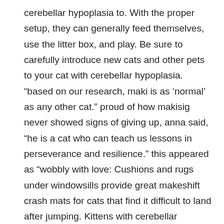cerebellar hypoplasia to. With the proper setup, they can generally feed themselves, use the litter box, and play. Be sure to carefully introduce new cats and other pets to your cat with cerebellar hypoplasia. “based on our research, maki is as ‘normal’ as any other cat.” proud of how makisig never showed signs of giving up, anna said, “he is a cat who can teach us lessons in perseverance and resilience.” this appeared as “wobbly with love: Cushions and rugs under windowsills provide great makeshift crash mats for cats that find it difficult to land after jumping. Kittens with cerebellar hypoplasia are not infectious to other kittens or cats, are not in any pain, and will learn to adapt to their disability over time. Ch will not affect the lifespan or quality of life of your client’s cat.